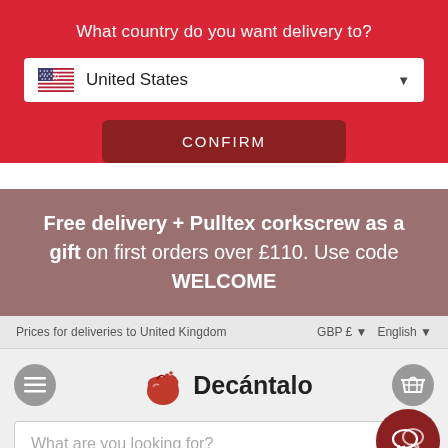What country do you want delivery to?
United States
CONFIRM
Free delivery + Pulltex corkscrew as a gift on first orders over £110. Use code WELCOME
Prices for deliveries to United Kingdom   GBP £ ▼   English ▼
[Figure (logo): Decántalo logo with red bird/wine drop icon and bold text 'Decántalo']
What are you looking for?